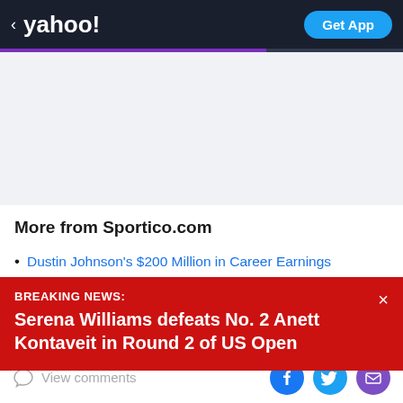< yahoo!   Get App
[Figure (screenshot): Advertisement placeholder area with light gray background]
More from Sportico.com
Dustin Johnson's $200 Million in Career Earnings
Raised for LIV Boost
BREAKING NEWS: Serena Williams defeats No. 2 Anett Kontaveit in Round 2 of US Open
View comments